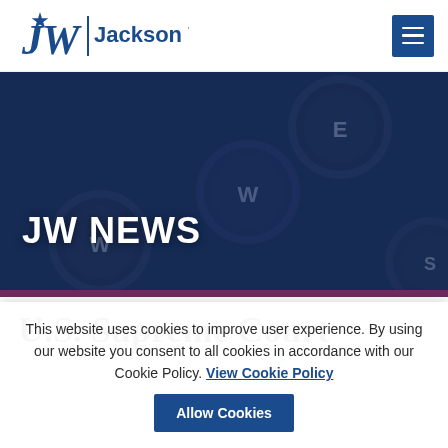[Figure (logo): Jackson Walker law firm logo with JW monogram and star, blue text]
[Figure (photo): Dark blue toned close-up photo of vintage typewriter keys, used as hero banner background]
JW NEWS
U.S. Supreme Court
This website uses cookies to improve user experience. By using our website you consent to all cookies in accordance with our Cookie Policy. View Cookie Policy   Allow Cookies